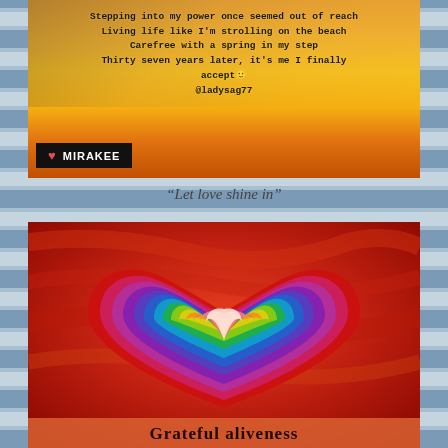[Figure (photo): Sunset sky background with poem text overlay and Mirakee branding badge. Text reads: 'Stepping into my power once seemed out of reach / Living life like I'm strolling on the beach / Carefree with a spring in my step / Thirty seven years later, it's me I finally accept 🙂 / @ladysag77']
“Let love shine in”
[Figure (illustration): Colorful swirling rainbow heart illustration on a red-orange background with text 'Grateful aliveness' at the bottom.]